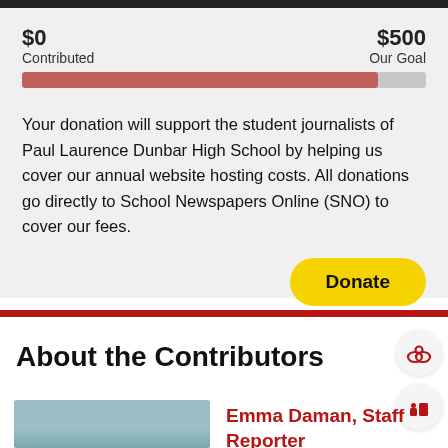$0 Contributed    $500 Our Goal
[Figure (infographic): Progress bar showing donation progress toward $500 goal, approximately 88% filled with red/mauve color]
Your donation will support the student journalists of Paul Laurence Dunbar High School by helping us cover our annual website hosting costs. All donations go directly to School Newspapers Online (SNO) to cover our fees.
Donate
About the Contributors
Emma Daman, Staff Reporter